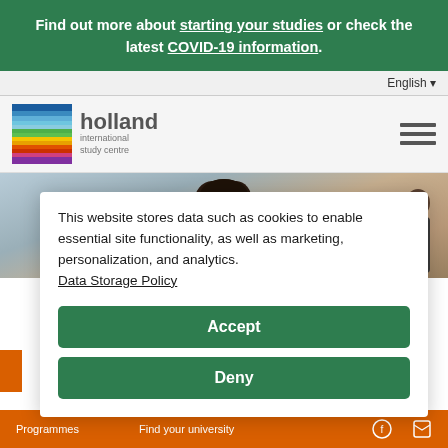Find out more about starting your studies or check the latest COVID-19 information.
English ▾
[Figure (logo): Holland International Study Centre logo with multicolored horizontal stripes and text 'holland international study centre']
[Figure (photo): Photo of a young woman with dark hair, viewed from behind/above, in a study or office setting]
This website stores data such as cookies to enable essential site functionality, as well as marketing, personalization, and analytics. Data Storage Policy
Accept
Deny
Programmes    Find your university